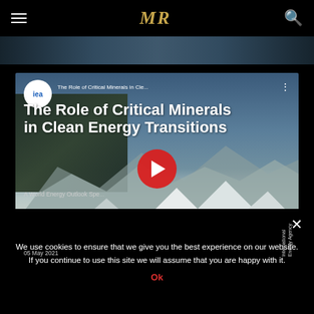MR (logo) — navigation bar with hamburger menu and search icon
[Figure (screenshot): YouTube video thumbnail for IEA video titled 'The Role of Critical Minerals in Clean Energy Transitions' published 05 May 2021. Shows IEA logo, play button, mountain/mining landscape background, subtitle 'A World Energy Outlook Spe...' and 'International Energy Agency' vertical text.]
We use cookies to ensure that we give you the best experience on our website. If you continue to use this site we will assume that you are happy with it.
Ok